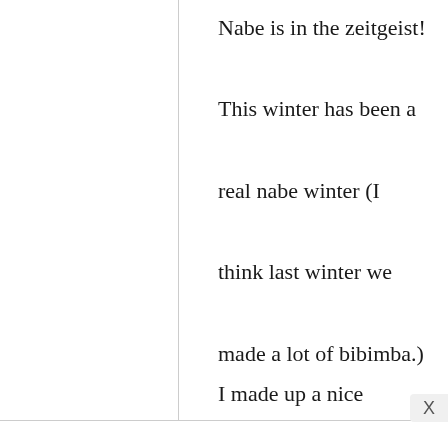Nabe is in the zeitgeist! This winter has been a real nabe winter (I think last winter we made a lot of bibimba.) I made up a nice chicken stock, then add frozen seafood mix and mushrooms, and my mother-in-law's Chinese cabbage. And naganegi, if I